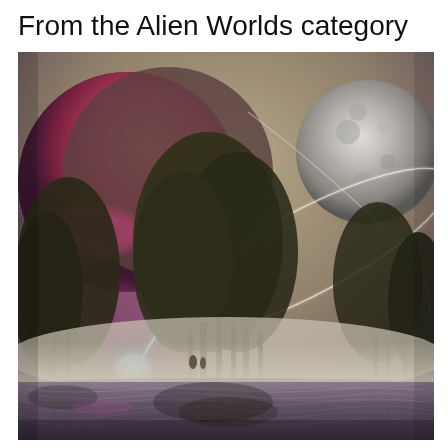From the Alien Worlds category
[Figure (illustration): A fantastical alien world scene: a misty landscape with tall dark trees reflected in water below. In the upper left, a large crescent planet glows pink-red with a blue-white light beam beneath. In the upper right, a large grey moon. Diagonal ring-like orbital paths streak across the sky. The overall palette is desaturated olive/taupe with purple and pink highlights.]